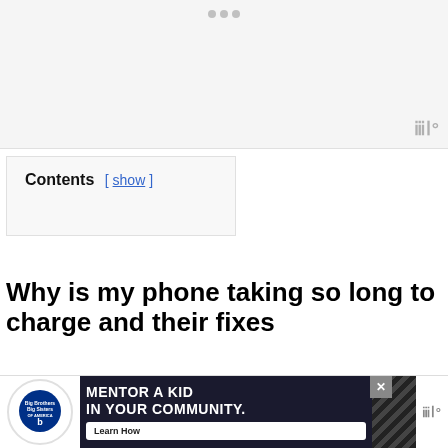[Figure (other): Light gray image placeholder area with three dots at top center and brand watermark at bottom right]
Contents  [ show ]
Why is my phone taking so long to charge and their fixes
Your phone is taking so long to charge due to various factors which includes poor or damaged ba... lo...
[Figure (other): Advertisement banner: Big Brothers Big Sisters - Mentor a Kid In Your Community. Learn How button. Dark background with diagonal stripes.]